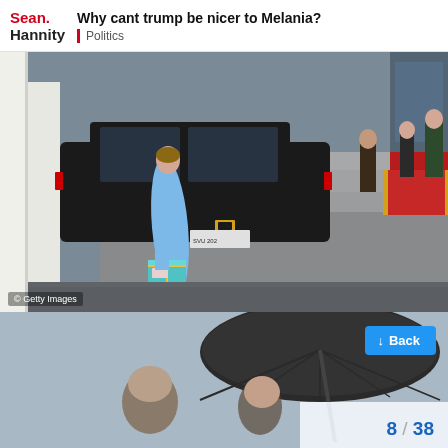Sean Hannity | Why cant trump be nicer to Melania? | Politics
[Figure (photo): Woman in light blue coat carrying a teal gift box near a black SUV outside the White House steps, with figures in formal attire visible near a red carpet in the background. Getty Images watermark visible.]
[Figure (photo): People under a large dark umbrella in rainy weather, partially visible.]
Back
8 / 38